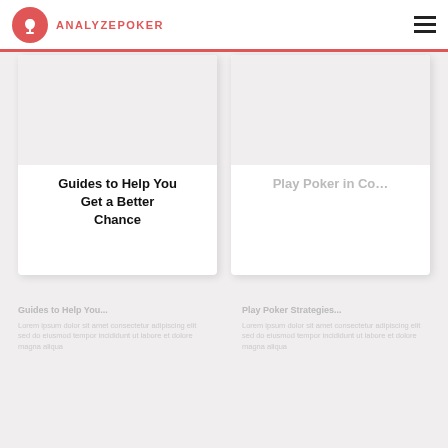ANALYZEPOKER
Guides to Help You Get a Better Chance
Play Poker in Co…
bottom left column faded text
bottom right column faded text